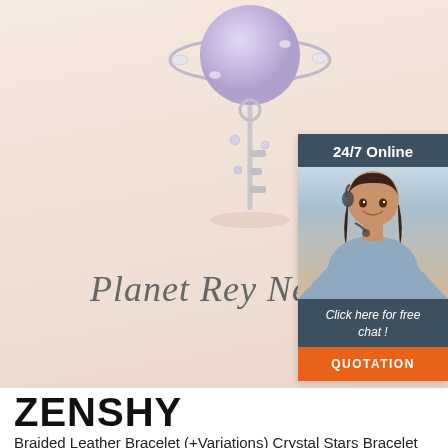[Figure (photo): Product photo of a Planet Key Necklace with purple crystal planet globe and silver ornate key body, displayed on a peach/beige background with handwritten script text reading 'Planet Rey Necklace']
[Figure (photo): 24/7 Online customer service chat widget showing a female customer service representative wearing a headset, with header '24/7 Online', subtext 'Click here for free chat!' and orange QUOTATION button]
ZENSHY
Braided Leather Bracelet (+Variations) Crystal Stars Bracelet (+Colors) on sale. Enjoy our store! Find fantastic prices on great products from every category of our site. Shop now. Stories. Get Access to our Wide Collection of Trending Accessories Oct